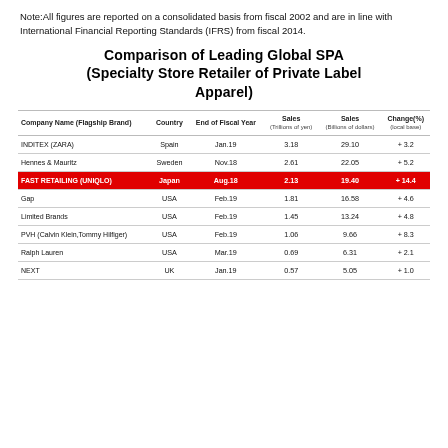Note:All figures are reported on a consolidated basis from fiscal 2002 and are in line with International Financial Reporting Standards (IFRS) from fiscal 2014.
Comparison of Leading Global SPA (Specialty Store Retailer of Private Label Apparel)
| Company Name (Flagship Brand) | Country | End of Fiscal Year | Sales (Trillions of yen) | Sales (Billions of dollars) | Change(%) (local base) |
| --- | --- | --- | --- | --- | --- |
| INDITEX (ZARA) | Spain | Jan.19 | 3.18 | 29.10 | + 3.2 |
| Hennes & Mauritz | Sweden | Nov.18 | 2.61 | 22.05 | + 5.2 |
| FAST RETAILING (UNIQLO) | Japan | Aug.18 | 2.13 | 19.40 | + 14.4 |
| Gap | USA | Feb.19 | 1.81 | 16.58 | + 4.6 |
| Limited Brands | USA | Feb.19 | 1.45 | 13.24 | + 4.8 |
| PVH (Calvin Klein,Tommy Hilfiger) | USA | Feb.19 | 1.06 | 9.66 | + 8.3 |
| Ralph Lauren | USA | Mar.19 | 0.69 | 6.31 | + 2.1 |
| NEXT | UK | Jan.19 | 0.57 | 5.05 | + 1.0 |